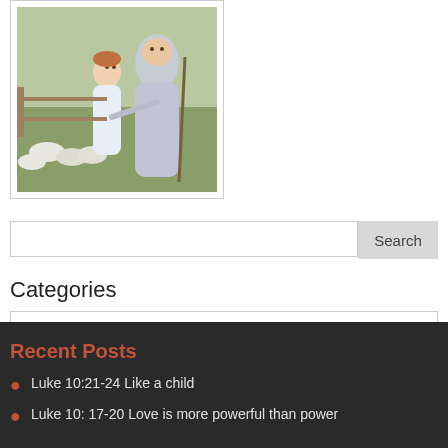[Figure (illustration): Religious painting showing a child and a robed figure (likely Jesus) with sheep in the background]
Search
Categories
Select Category
Recent Posts
Luke 10:21-24 Like a child
Luke 10: 17-20 Love is more powerful than power